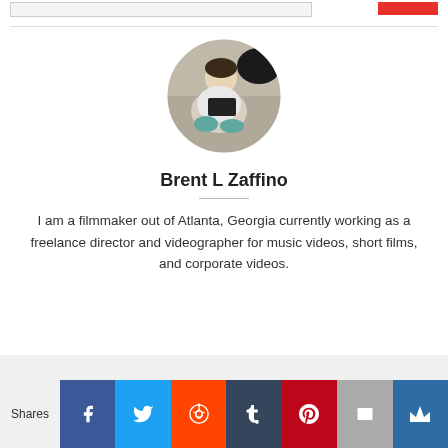[Figure (photo): Circular profile photo of Brent L Zaffino, a person sitting cross-legged outdoors working with a camera/device]
Brent L Zaffino
I am a filmmaker out of Atlanta, Georgia currently working as a freelance director and videographer for music videos, short films, and corporate videos.
[Figure (infographic): Social sharing bar with icons for Facebook, Twitter, Reddit, Tumblr, Pinterest, Email, and Sumo/Crown. Label on left reads 'Shares'.]